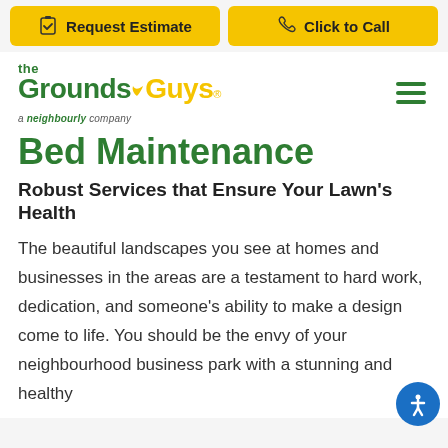[Figure (other): Request Estimate button with clipboard icon]
[Figure (other): Click to Call button with phone icon]
[Figure (logo): The Grounds Guys logo - a neighbourly company]
Bed Maintenance
Robust Services that Ensure Your Lawn's Health
The beautiful landscapes you see at homes and businesses in the areas are a testament to hard work, dedication, and someone's ability to make a design come to life. You should be the envy of your neighbourhood business park with a stunning and healthy